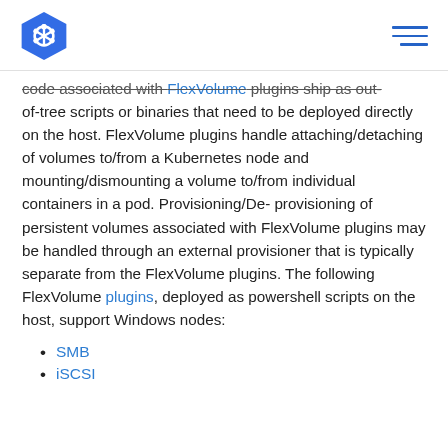Kubernetes logo and navigation menu
code associated with FlexVolume plugins ship as out-of-tree scripts or binaries that need to be deployed directly on the host. FlexVolume plugins handle attaching/detaching of volumes to/from a Kubernetes node and mounting/dismounting a volume to/from individual containers in a pod. Provisioning/De-provisioning of persistent volumes associated with FlexVolume plugins may be handled through an external provisioner that is typically separate from the FlexVolume plugins. The following FlexVolume plugins, deployed as powershell scripts on the host, support Windows nodes:
SMB
iSCSI